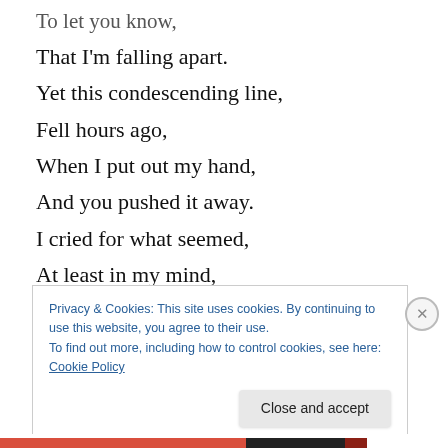To let you know,
That I'm falling apart.
Yet this condescending line,
Fell hours ago,
When I put out my hand,
And you pushed it away.
I cried for what seemed,
At least in my mind,
An eternity that night,
Before I let the tears,
Hold my eyes shut tight,
Privacy & Cookies: This site uses cookies. By continuing to use this website, you agree to their use. To find out more, including how to control cookies, see here: Cookie Policy
Close and accept